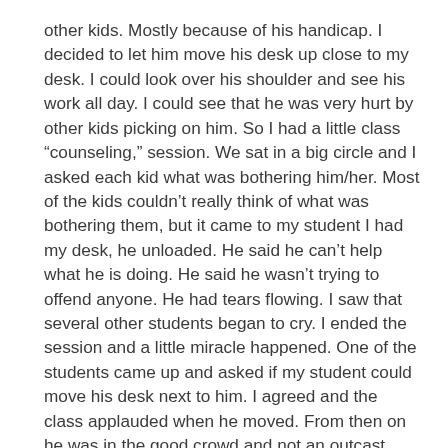other kids. Mostly because of his handicap. I decided to let him move his desk up close to my desk. I could look over his shoulder and see his work all day. I could see that he was very hurt by other kids picking on him. So I had a little class “counseling,” session. We sat in a big circle and I asked each kid what was bothering him/her. Most of the kids couldn’t really think of what was bothering them, but it came to my student I had my desk, he unloaded. He said he can’t help what he is doing. He said he wasn’t trying to offend anyone. He had tears flowing. I saw that several other students began to cry. I ended the session and a little miracle happened. One of the students came up and asked if my student could move his desk next to him. I agreed and the class applauded when he moved. From then on he was in the good crowd and not an outcast. What did I learn from this…Everyone needs to be heard. Being silent doesn’t help anything. Let others know of your pain and hurts.